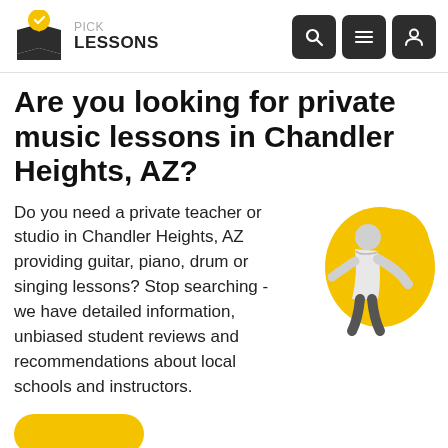PICK LESSONS
Are you looking for private music lessons in Chandler Heights, AZ?
Do you need a private teacher or studio in Chandler Heights, AZ providing guitar, piano, drum or singing lessons? Stop searching - we have detailed information, unbiased student reviews and recommendations about local schools and instructors.
[Figure (illustration): Person leaning forward listening, with yellow blob background]